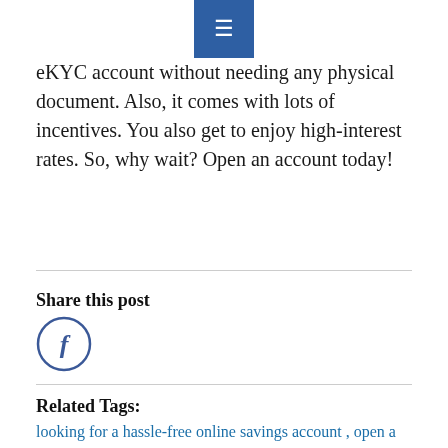≡
eKYC account without needing any physical document. Also, it comes with lots of incentives. You also get to enjoy high-interest rates. So, why wait? Open an account today!
Share this post
[Figure (illustration): Facebook share button — circle with letter f]
Related Tags:
looking for a hassle-free online savings account , open a savings account with IndusInd Bank , savings account to a Zero Balance , Savings Account with IndusInd Bank ,